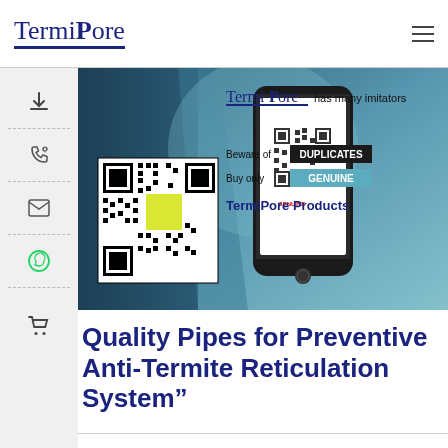[Figure (logo): TermiPore logo in navy blue serif font with underline]
[Figure (photo): Hero banner showing a smartphone scanning a QR code with TermiPore branding, 'Beware of DUPLICATES, Buy only GENUINE TermiPore Products' text overlay on teal/blue background]
Quality Pipes for Preventive Anti-Termite Reticulation System"